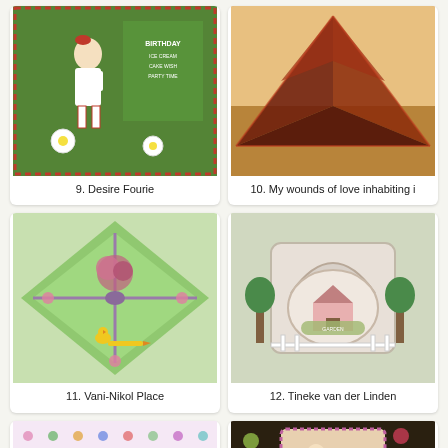[Figure (photo): Handmade birthday card featuring a cartoon girl in white dress with red stockings, green cross-stitch style background with birthday text]
9. Desire Fourie
[Figure (photo): Exploding box card with dark red/brown geometric triangular design on warm background]
10. My wounds of love inhabiting i
[Figure (photo): Green diamond/square shaped card with floral decorations and purple bow, with small yellow chick]
11. Vani-Nikol Place
[Figure (photo): Detailed 3D card featuring an ornate garden gate/arch with pink house, topiary trees, and white picket fence]
12. Tineke van der Linden
[Figure (photo): Colorful card with owl and teacup on dotted background with rainbow striped cup]
[Figure (photo): Card with cartoon girl sitting among flowers on dark background with scalloped frame]